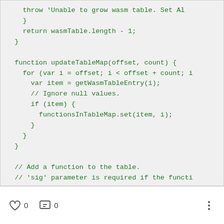throw 'Unable to grow wasm table. Set AL
    }
    return wasmTable.length - 1;
  }

  function updateTableMap(offset, count) {
    for (var i = offset; i < offset + count; i
      var item = getWasmTableEntry(i);
      // Ignore null values.
      if (item) {
        functionsInTableMap.set(item, i);
      }
    }
  }

  // Add a function to the table.
  // 'sig' parameter is required if the functi
  function addFunction(func, sig) {
    assert(typeof func !== 'undefined');
0   0